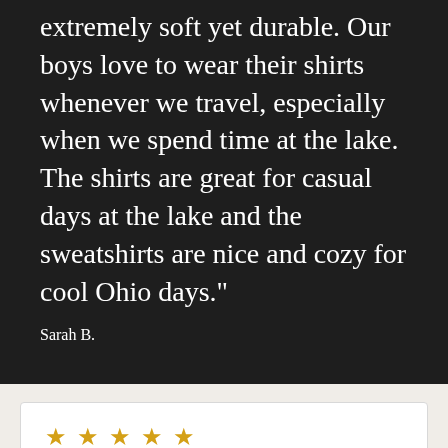extremely soft yet durable. Our boys love to wear their shirts whenever we travel, especially when we spend time at the lake. The shirts are great for casual days at the lake and the sweatshirts are nice and cozy for cool Ohio days."
Sarah B.
★★★★★
"Where do I begin with how awesome these t-shirts and sweatshirts are?! They are always my go to shirts.